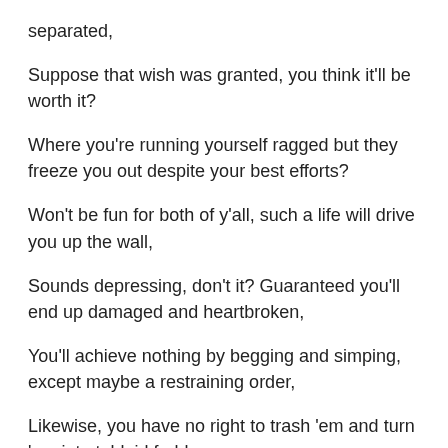separated,
Suppose that wish was granted, you think it'll be worth it?
Where you're running yourself ragged but they freeze you out despite your best efforts?
Won't be fun for both of y'all, such a life will drive you up the wall,
Sounds depressing, don't it? Guaranteed you'll end up damaged and heartbroken,
You'll achieve nothing by begging and simping, except maybe a restraining order,
Likewise, you have no right to trash 'em and turn 'em into tabloid fodder,